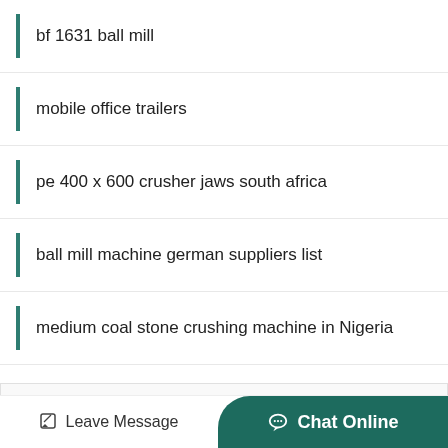bf 1631 ball mill
mobile office trailers
pe 400 x 600 crusher jaws south africa
ball mill machine german suppliers list
medium coal stone crushing machine in Nigeria
Get Quick Quote
Need more information about our products and prices?Just contact us, we are waiting for you!